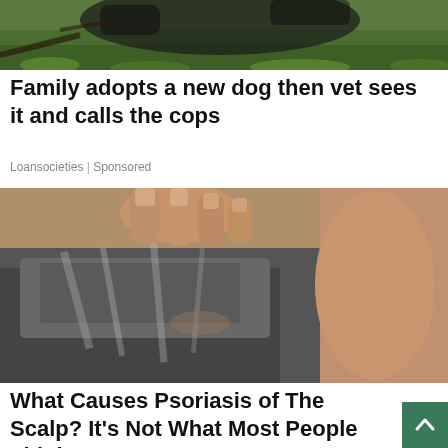[Figure (photo): Partial view of a dark dog outdoors in green grass, top portion cropped]
Family adopts a new dog then vet sees it and calls the cops
Loansocieties | Sponsored
[Figure (photo): Close-up photo of a person scratching the back of a man's scalp/neck area, showing grey hair and an ear, suggesting a scalp condition]
What Causes Psoriasis of The Scalp? It's Not What Most People Think